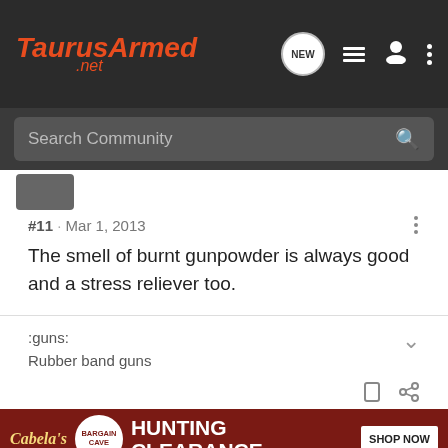TaurusArmed .net
Search Community
#11 · Mar 1, 2013
The smell of burnt gunpowder is always good and a stress reliever too.
:guns:
Rubber band guns
[Figure (screenshot): Cabela's Bargain Cave Hunting Clearance ad banner with Shop Now button]